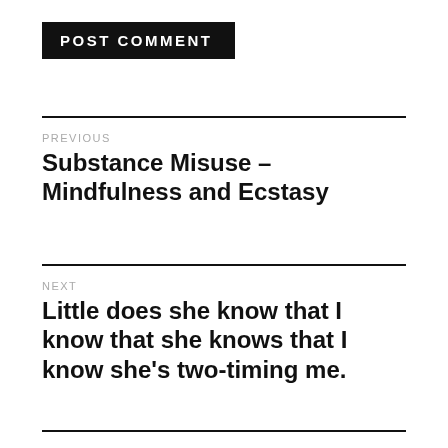POST COMMENT
PREVIOUS
Substance Misuse – Mindfulness and Ecstasy
NEXT
Little does she know that I know that she knows that I know she's two-timing me.